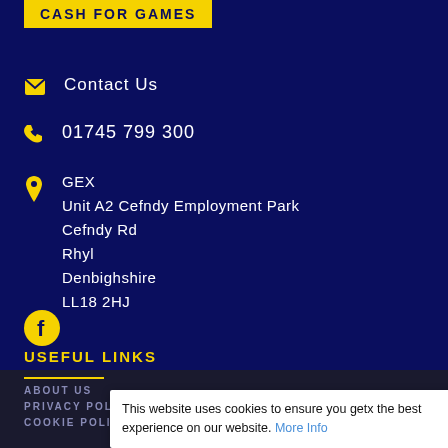[Figure (logo): Cash For Games logo with yellow banner background and dark blue text]
Contact Us
01745 799 300
GEX
Unit A2 Cefndy Employment Park
Cefndy Rd
Rhyl
Denbighshire
LL18 2HJ
[Figure (logo): Facebook icon (yellow circle with white F)]
USEFUL LINKS
ABOUT US
PRIVACY POLICY
COOKIE POLICY
This website uses cookies to ensure you get the best experience on our website. More Info